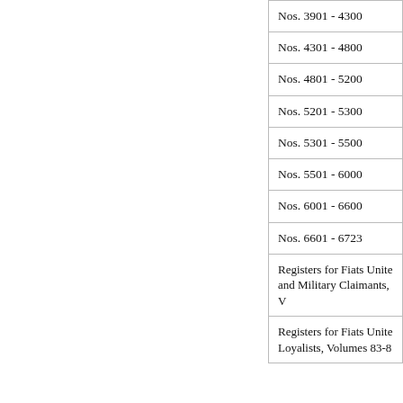| Nos. 3901 - 4300 |
| Nos. 4301 - 4800 |
| Nos. 4801 - 5200 |
| Nos. 5201 - 5300 |
| Nos. 5301 - 5500 |
| Nos. 5501 - 6000 |
| Nos. 6001 - 6600 |
| Nos. 6601 - 6723 |
| Registers for Fiats Unite and Military Claimants, V... |
| Registers for Fiats Unite Loyalists, Volumes 83-8... |